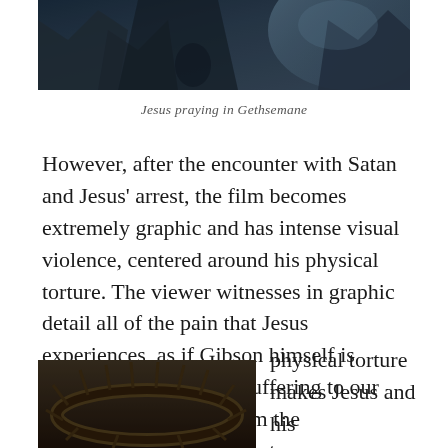[Figure (photo): Dark cinematic scene, likely Jesus praying in Gethsemane, with blue-toned rocky environment]
Jesus praying in Gethsemane
However, after the encounter with Satan and Jesus' arrest, the film becomes extremely graphic and has intense visual violence, centered around his physical torture. The viewer witnesses in graphic detail all of the pain that Jesus experiences, as if Gibson himself is nailing the torture and suffering to our eyes. This transition from the psychological temptation to
[Figure (photo): Close-up of a crown of thorns, dark thorny wreath on dark background]
physical torture makes Jesus and his